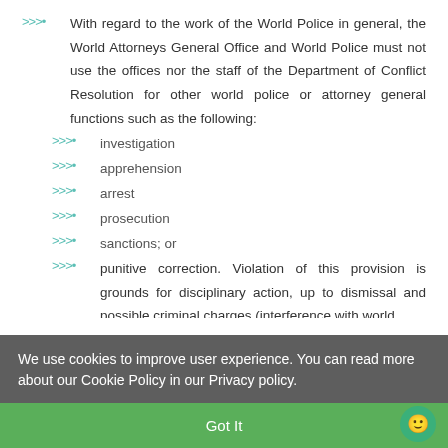With regard to the work of the World Police in general, the World Attorneys General Office and World Police must not use the offices nor the staff of the Department of Conflict Resolution for other world police or attorney general functions such as the following:
investigation
apprehension
arrest
prosecution
sanctions; or
punitive correction. Violation of this provision is grounds for disciplinary action, up to dismissal and possible criminal charges (interference with world
We use cookies to improve user experience. You can read more about our Cookie Policy in our Privacy policy.
Got It